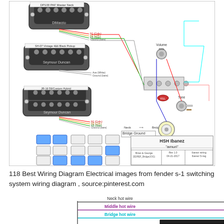[Figure (schematic): HSH Ibanez 'amuri' guitar wiring diagram showing DiMarzio neck pickup, Seymour Duncan middle and bridge pickups, 5-way switch, volume and tone controls, output jack, and color-coded wiring connections. Title block reads: HSH Ibanez 'amuri', Brian & George, Rev 1.0, 04-21-2017, Ibanez S-reg.]
118 Best Wiring Diagram Electrical images from fender s-1 switching system wiring diagram , source:pinterest.com
[Figure (schematic): Partial wiring diagram showing labeled wires: Neck hot wire (black), Middle hot wire (purple/magenta), Bridge hot wire (cyan/blue), with a black box at bottom right.]